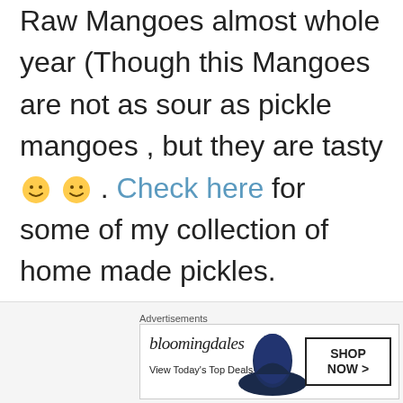Chennai is a place where we get Raw Mangoes almost whole year (Though this Mangoes are not as sour as pickle mangoes , but they are tasty 🙂 🙂 . Check here for some of my collection of home made pickles.
C...
[Figure (screenshot): Bloomingdale's advertisement banner with hat image and Shop Now button]